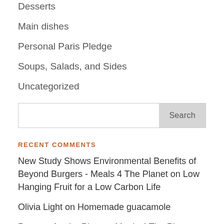Desserts
Main dishes
Personal Paris Pledge
Soups, Salads, and Sides
Uncategorized
RECENT COMMENTS
New Study Shows Environmental Benefits of Beyond Burgers - Meals 4 The Planet on Low Hanging Fruit for a Low Carbon Life
Olivia Light on Homemade guacamole
Peanuts for the Planet - Meals 4 The Planet on Taking Climate into your Own Hands